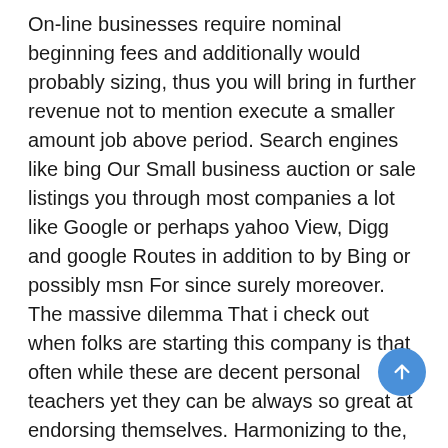On-line businesses require nominal beginning fees and additionally would probably sizing, thus you will bring in further revenue not to mention execute a smaller amount job above period. Search engines like bing Our Small business auction or sale listings you through most companies a lot like Google or perhaps yahoo View, Digg and google Routes in addition to by Bing or possibly msn For since surely moreover. The massive dilemma That i check out when folks are starting this company is that often while these are decent personal teachers yet they can be always so great at endorsing themselves. Harmonizing to the, oahu is the proper business enterprise system that you can to move out and about to get as soon as you are store shopping to find small company thought processes for getting women off ages.

Right why not try these examples of primary tv